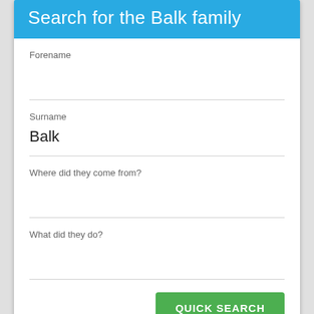Search for the Balk family
Forename
Surname
Balk
Where did they come from?
What did they do?
QUICK SEARCH